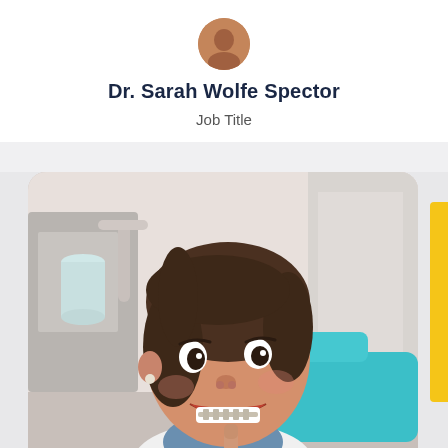[Figure (illustration): Small circular avatar/profile photo placeholder showing a person silhouette in brown/tan color]
Dr. Sarah Wolfe Spector
Job Title
[Figure (photo): Young smiling girl with braces at a dental clinic, pointing to her teeth, with dental equipment visible in the background]